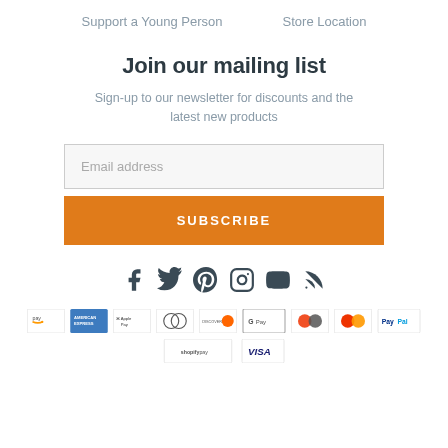Support a Young Person    Store Location
Join our mailing list
Sign-up to our newsletter for discounts and the latest new products
Email address
SUBSCRIBE
[Figure (illustration): Social media icons: Facebook, Twitter, Pinterest, Instagram, YouTube, RSS]
[Figure (illustration): Payment method icons: Amazon Pay, American Express, Apple Pay, Diners Club, Discover, Google Pay, Maestro, Mastercard, PayPal, Shopify Pay, Visa]